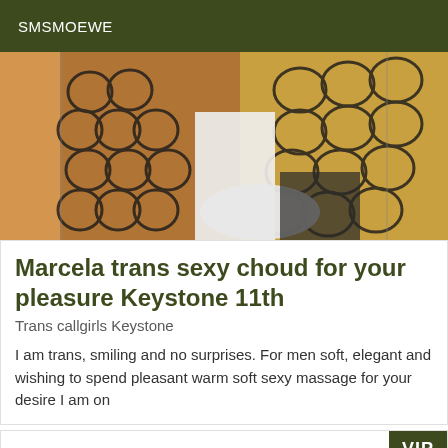SMSMOEWE
[Figure (photo): Photo of a person wearing fishnet stockings, seated, with an orange/yellow background]
Marcela trans sexy choud for your pleasure Keystone 11th
Trans callgirls Keystone
I am trans, smiling and no surprises. For men soft, elegant and wishing to spend pleasant warm soft sexy massage for your desire I am on
VIP